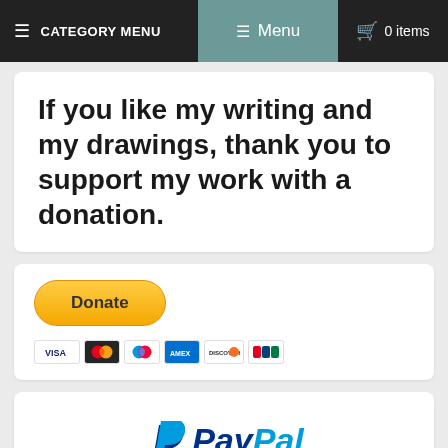≡ CATEGORY MENU   ≡ Menu   🛒 0 items
If you like my writing and my drawings, thank you to support my work with a donation.
[Figure (other): PayPal Donate button with credit card icons (Visa, Mastercard, Maestro, American Express, Discover, UnionPay)]
[Figure (logo): PayPal logo with Chinese text below]